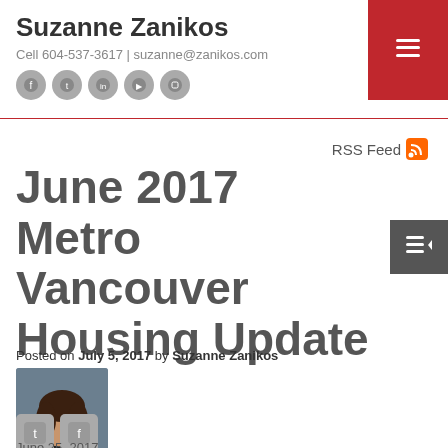Suzanne Zanikos
Cell 604-537-3617 | suzanne@zanikos.com
June 2017 Metro Vancouver Housing Update
Posted on July 5, 2017 by Suzanne Zanikos
[Figure (photo): Portrait photo of Suzanne Zanikos]
RSS Feed
June 25, 2017